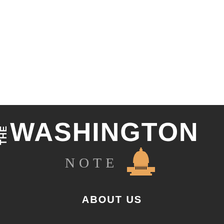[Figure (logo): The Washington Note logo with US Capitol building icon on dark background]
ABOUT US